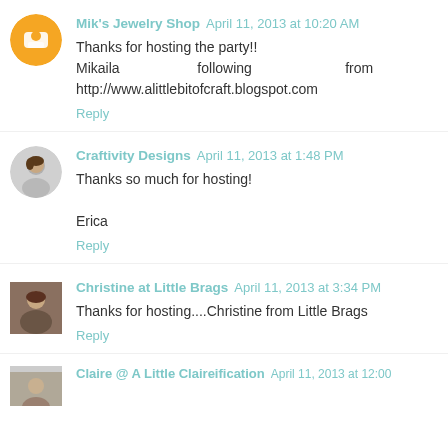Mik's Jewelry Shop April 11, 2013 at 10:20 AM
Thanks for hosting the party!!
Mikaila following from http://www.alittlebitofcraft.blogspot.com
Reply
Craftivity Designs April 11, 2013 at 1:48 PM
Thanks so much for hosting!
Erica
Reply
Christine at Little Brags April 11, 2013 at 3:34 PM
Thanks for hosting....Christine from Little Brags
Reply
Claire @ A Little Claireification April 11, 2013 at 12:00